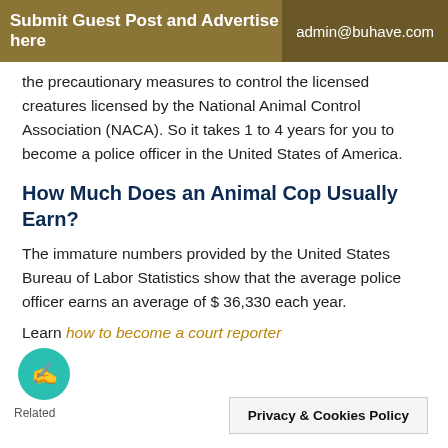Submit Guest Post and Advertise here | admin@buhave.com
the precautionary measures to control the licensed creatures licensed by the National Animal Control Association (NACA). So it takes 1 to 4 years for you to become a police officer in the United States of America.
How Much Does an Animal Cop Usually Earn?
The immature numbers provided by the United States Bureau of Labor Statistics show that the average police officer earns an average of $ 36,330 each year.
Learn how to become a court reporter